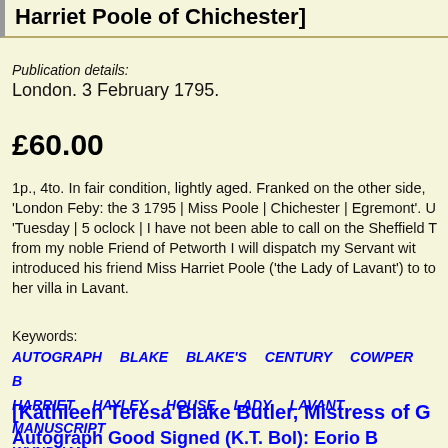Harriet Poole of Chichester]
Publication details:
London. 3 February 1795.
£60.00
1p., 4to. In fair condition, lightly aged. Franked on the other side, 'London Feby: the 3 1795 | Miss Poole | Chichester | Egremont'. U 'Tuesday | 5 oclock | I have not been able to call on the Sheffield T from my noble Friend of Petworth I will dispatch my Servant wit introduced his friend Miss Harriet Poole ('the Lady of Lavant') to to her villa in Lavant.
Keywords:
AUTOGRAPH  BLAKE  BLAKE&#39;S  CENTURY  COWPER  B HARRIET  HAYLEY  HOUSE  LADY  LAVANT  MANUSCRIPT WYNDHAM
[Kathleen Teresa Blake Butler, Mistress of G Autograph Good Signed (K.T. Bol): Eorio B